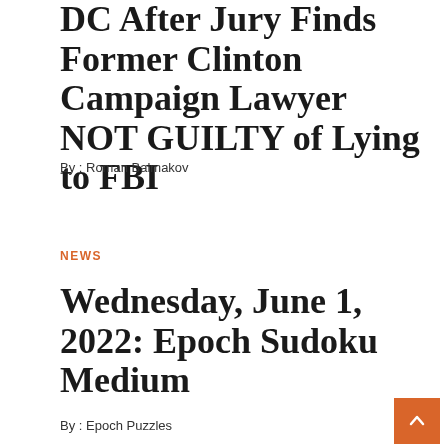DC After Jury Finds Former Clinton Campaign Lawyer NOT GUILTY of Lying to FBI
By: Roman Balmakov
NEWS
Wednesday, June 1, 2022: Epoch Sudoku Medium
By: Epoch Puzzles